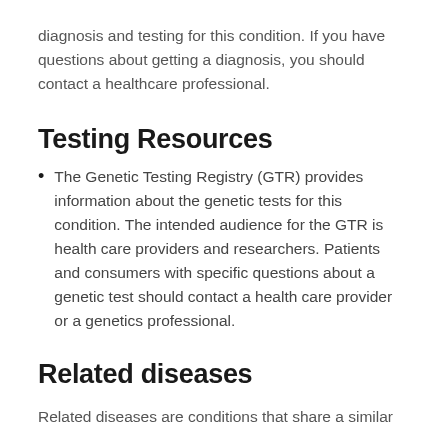diagnosis and testing for this condition. If you have questions about getting a diagnosis, you should contact a healthcare professional.
Testing Resources
The Genetic Testing Registry (GTR) provides information about the genetic tests for this condition. The intended audience for the GTR is health care providers and researchers. Patients and consumers with specific questions about a genetic test should contact a health care provider or a genetics professional.
Related diseases
Related diseases are conditions that share a similar...